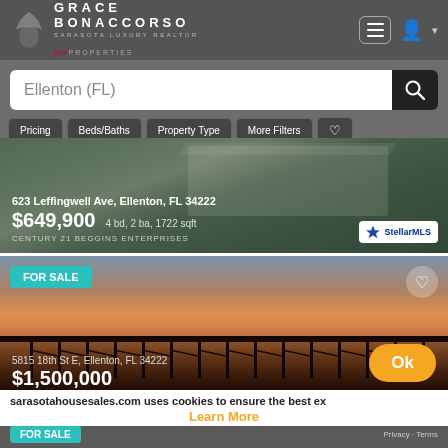[Figure (screenshot): Grace Bonaccorso Sarasota Luxury Realtor website header with logo and navigation icons]
Ellenton (FL)
Pricing
Beds/Baths
Property Type
More Filters
[Figure (photo): Photo of house at 623 Leffingwell Ave with green landscaping]
623 Leffingwell Ave, Ellenton, FL 34222
$649,900 4 bd, 2 ba, 1722 sqft
CENTURY 21 BEGGINS ENTERPRISES
[Figure (photo): Sunset photo of fishing pier at 5815 18th St E Ellenton FL with FOR SALE badge]
5815 18th St E, Ellenton, FL 34222
$1,500,000
DALTON WADE INC
sarasotahousesales.com uses cookies to ensure the best ex
Learn More
Ok
[Figure (screenshot): Bottom strip with FOR SALE tag and Privacy - Terms text]